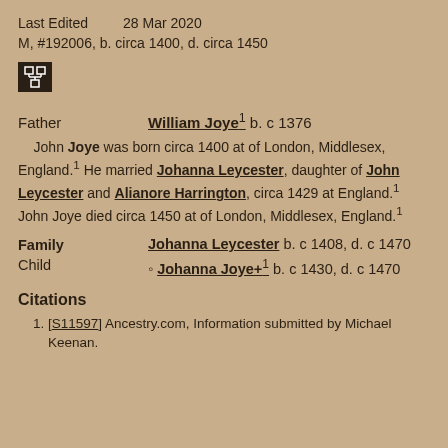Last Edited    28 Mar 2020
M, #192006, b. circa 1400, d. circa 1450
[Figure (other): Small dark icon button with a tree/hierarchy symbol]
Father    William Joye¹ b. c 1376
John Joye was born circa 1400 at of London, Middlesex, England.¹ He married Johanna Leycester, daughter of John Leycester and Alianore Harrington, circa 1429 at England.¹ John Joye died circa 1450 at of London, Middlesex, England.¹
| Family | Johanna Leycester b. c 1408, d. c 1470 |
| Child | • Johanna Joye+¹ b. c 1430, d. c 1470 |
Citations
[S11597] Ancestry.com, Information submitted by Michael Keenan.